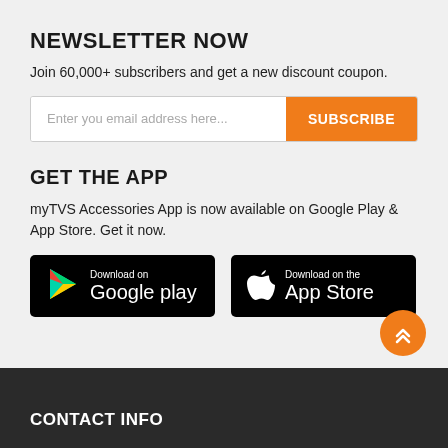NEWSLETTER NOW
Join 60,000+ subscribers and get a new discount coupon.
Enter you email address here...  [SUBSCRIBE button]
GET THE APP
myTVS Accessories App is now available on Google Play & App Store. Get it now.
[Figure (screenshot): Download on Google Play badge (black background, play store triangle icon)]
[Figure (screenshot): Download on the App Store badge (black background, Apple logo)]
CONTACT INFO